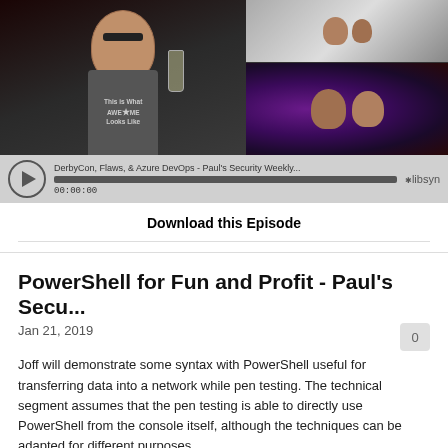[Figure (screenshot): Video thumbnail showing a man in a t-shirt reading 'This is What AWESOME Looks Like' holding a glass on the left half, and two people at a studio desk in a purple-lit room on the right half with a small preview image above.]
[Figure (screenshot): Audio player bar with play button, title 'DerbyCon, Flaws, & Azure DevOps - Paul's Security Weekly...', progress bar, timestamp 00:00:00, and libsyn logo.]
Download this Episode
PowerShell for Fun and Profit - Paul's Secu...
Jan 21, 2019
Joff will demonstrate some syntax with PowerShell useful for transferring data into a network while pen testing. The technical segment assumes that the pen testing is able to directly use PowerShell from the console itself, although the techniques can be adapted for different purposes.
To learn more about BHIS, visit: https://securityweekly.com/bhis